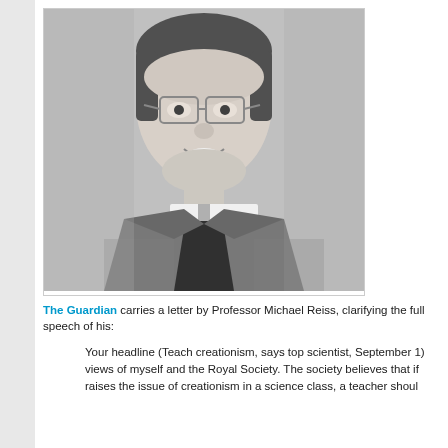[Figure (photo): Black and white portrait photograph of Professor Michael Reiss, a man wearing glasses and a clerical collar with a suit jacket, smiling at the camera.]
The Guardian carries a letter by Professor Michael Reiss, clarifying the full speech of his:
Your headline (Teach creationism, says top scientist, September 1) misrepresents the views of myself and the Royal Society. The society believes that if a student raises the issue of creationism in a science class, a teacher shoul...